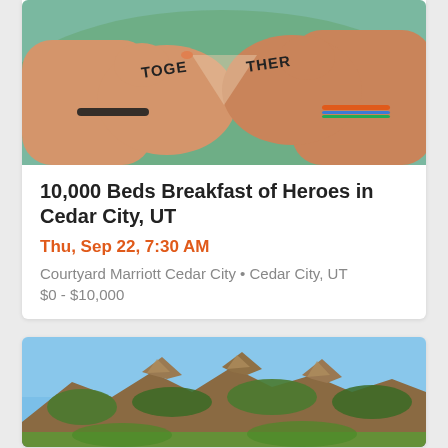[Figure (photo): Two people forming a heart shape with their hands, with 'TOGETHER' written on their palms. One person wears a black bracelet and the other a colorful bracelet.]
10,000 Beds Breakfast of Heroes in Cedar City, UT
Thu, Sep 22, 7:30 AM
Courtyard Marriott Cedar City • Cedar City, UT
$0 - $10,000
[Figure (photo): Mountain landscape with rocky peaks covered in trees and shrubs, against a clear blue sky.]